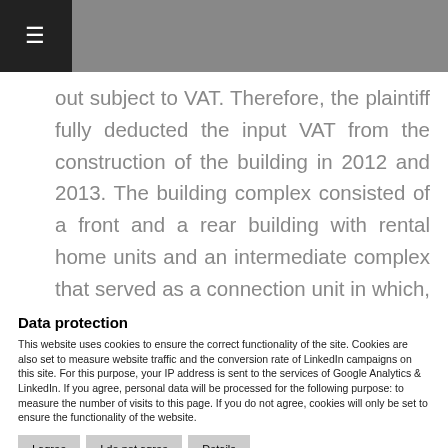≡
out subject to VAT. Therefore, the plaintiff fully deducted the input VAT from the construction of the building in 2012 and 2013. The building complex consisted of a front and a rear building with rental home units and an intermediate complex that served as a connection unit in which, among other things,
Data protection
This website uses cookies to ensure the correct functionality of the site. Cookies are also set to measure website traffic and the conversion rate of LinkedIn campaigns on this site. For this purpose, your IP address is sent to the services of Google Analytics & LinkedIn. If you agree, personal data will be processed for the following purpose: to measure the number of visits to this page. If you do not agree, cookies will only be set to ensure the functionality of the website.
I agree
I do not agree
Details